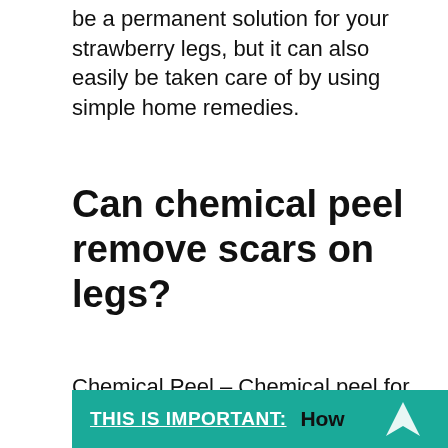be a permanent solution for your strawberry legs, but it can also easily be taken care of by using simple home remedies.
Can chemical peel remove scars on legs?
Chemical Peel – Chemical peel for scars on legs is a safe treatment for reducing mild scarring, by using a plant-based solution. It triggers controlled exfoliation and skin renewal by removing the damaged layers and revealing the new skin that is visibly smoother and noticeably less irregular in colour and texture.
THIS IS IMPORTANT:  How